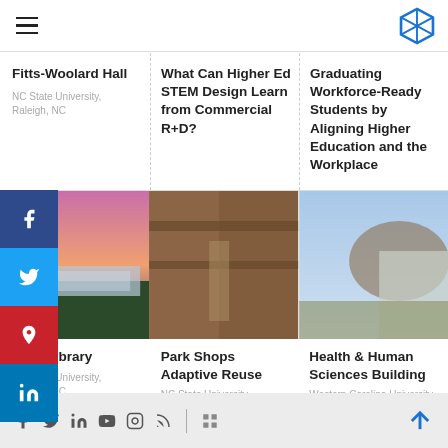Navigation header with hamburger menu and logo
Fitts-Woolard Hall
NC State University, Raleigh, NC
What Can Higher Ed STEM Design Learn from Commercial R+D?
Graduating Workforce-Ready Students by Aligning Higher Education and the Workplace
[Figure (photo): Hunt Library building exterior at dusk with dramatic pink/purple sky]
[Figure (photo): Park Shops interior corridor with brick walls and people walking]
[Figure (photo): Health & Human Sciences Building exterior with mountain backdrop]
Hunt Library
NC State University, Raleigh, NC
Park Shops Adaptive Reuse
NC State University, Raleigh, NC
Health & Human Sciences Building
Western Carolina University, Cullowhee, NC
Social media icons: Facebook, Twitter, LinkedIn, YouTube, Instagram, RSS. Back to top arrow.